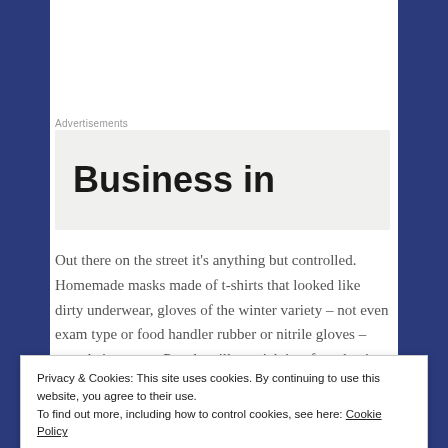Advertisements
[Figure (other): Advertisement banner showing 'Business in' in large bold black text on a light grey background]
Out there on the street it's anything but controlled. Homemade masks made of t-shirts that looked like dirty underwear, gloves of the winter variety – not even exam type or food handler rubber or nitrile gloves – were being worn. People will get sick just from having wet
Privacy & Cookies: This site uses cookies. By continuing to use this website, you agree to their use.
To find out more, including how to control cookies, see here: Cookie Policy
Close and accept